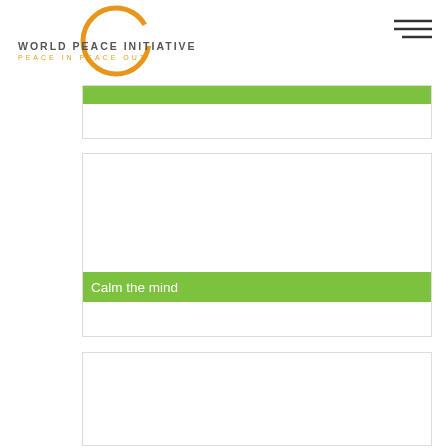World Peace Initiative — Peace In Peace Out
[Figure (logo): World Peace Initiative logo with orange circle and text 'WORLD PEACE INITIATIVE' and tagline 'PEACE IN PEACE OUT']
[Figure (other): Hamburger menu icon (three horizontal lines)]
[Figure (other): Card with green header bar at top, partial view]
[Figure (other): Card with image area and green 'Calm the mind' label bar near bottom]
Calm the mind
[Figure (other): Card with white content area, bottom portion visible]